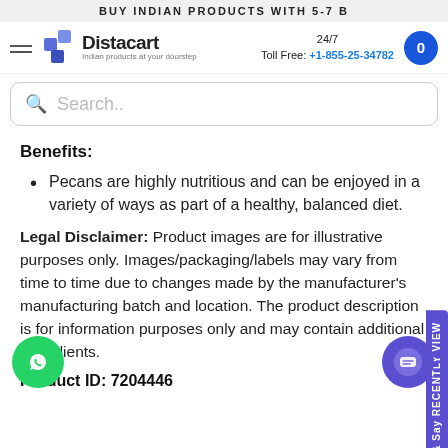BUY INDIAN PRODUCTS WITH 5-7 B
[Figure (logo): Distacart logo with tagline 'Indian products at your doorstep']
24/7 Toll Free: +1-855-25-34782
Search..
Benefits:
Pecans are highly nutritious and can be enjoyed in a variety of ways as part of a healthy, balanced diet.
Legal Disclaimer: Product images are for illustrative purposes only. Images/packaging/labels may vary from time to time due to changes made by the manufacturer's manufacturing batch and location. The product description is for information purposes only and may contain additional ingredients.
Product ID: 7204446